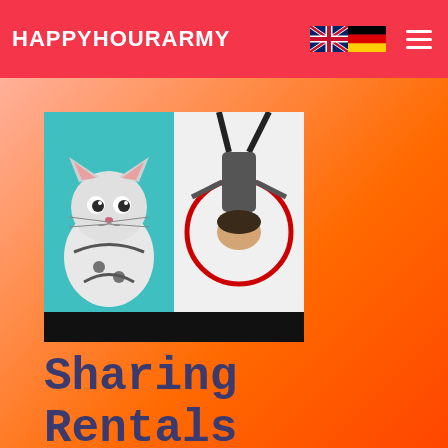HAPPYHOURARMY
[Figure (photo): Two-panel collage: left panel shows a cat wearing a harness/costume on a teal background; right panel shows a person upside down with legs visible from above, with a red circle highlight, on a white floor background. Black bar at bottom of image.]
Sharing Rentals Self Guided